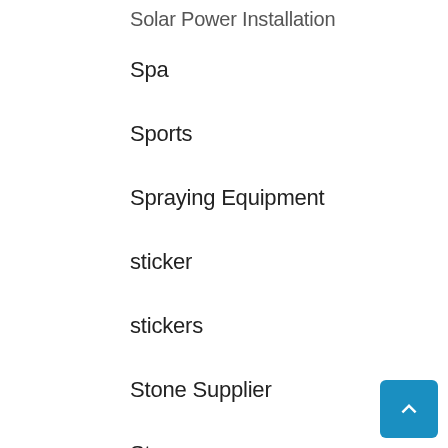Solar Power Installation
Spa
Sports
Spraying Equipment
sticker
stickers
Stone Supplier
Storage
Storage Service
Supply Chain Management
Surgery
Sushi Restaurant
Swim School
Swimming School
Tax Planning
Telecommunications
Tinting